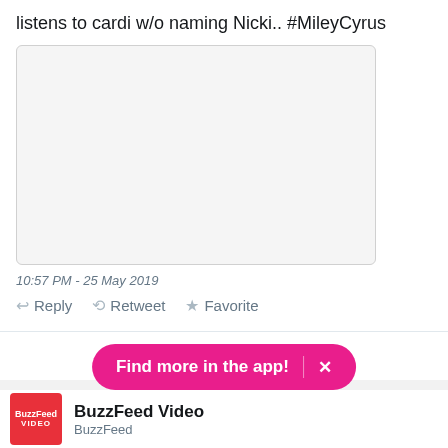listens to cardi w/o naming Nicki.. #MileyCyrus
[Figure (photo): Embedded media/image placeholder within tweet (blank white box with border)]
10:57 PM - 25 May 2019
Reply   Retweet   Favorite
ADVERTISEMENT
Find more in the app!  ×
BuzzFeed Video
BuzzFeed